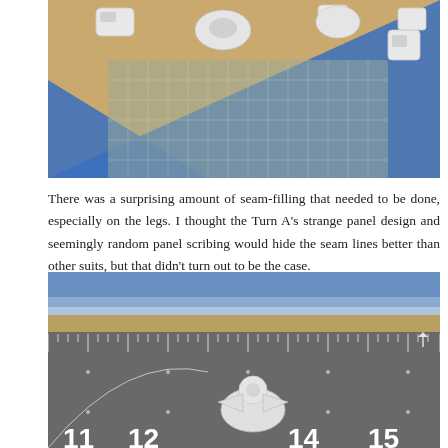[Figure (photo): White plastic model kit parts scattered on a tan cutting mat with a blue triangular ruler/set square visible in the foreground.]
There was a surprising amount of seam-filling that needed to be done, especially on the legs. I thought the Turn A's strange panel design and seemingly random panel scribing would hide the seam lines better than other suits, but that didn't turn out to be the case.
[Figure (photo): A small white plastic model piece (appearing to be a head/bust component) sitting on a gray cutting mat ruler showing measurements around 11-15, with blue foam/tape strips in the background.]